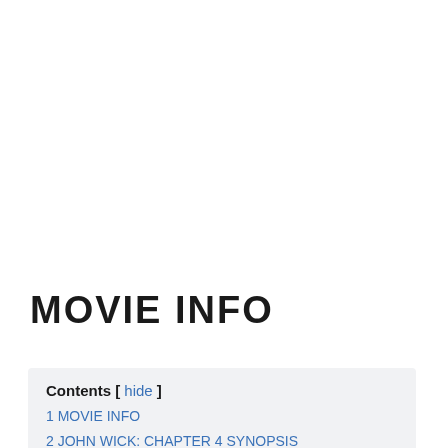MOVIE INFO
| Contents [ hide ] |
| 1 MOVIE INFO |
| 2 JOHN WICK: CHAPTER 4 SYNOPSIS |
| 3 REVIEW |